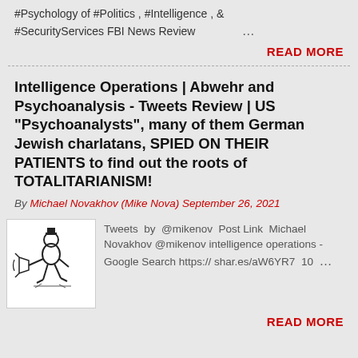#Psychology of #Politics , #Intelligence , & #SecurityServices FBI News Review …
READ MORE
Intelligence Operations | Abwehr and Psychoanalysis - Tweets Review | US "Psychoanalysts", many of them German Jewish charlatans, SPIED ON THEIR PATIENTS to find out the roots of TOTALITARIANISM!
By Michael Novakhov (Mike Nova) September 26, 2021
[Figure (illustration): Cartoon illustration of a man with a megaphone]
Tweets by @mikenov Post Link Michael Novakhov @mikenov intelligence operations - Google Search https:// shar.es/aW6YR7 10 …
READ MORE